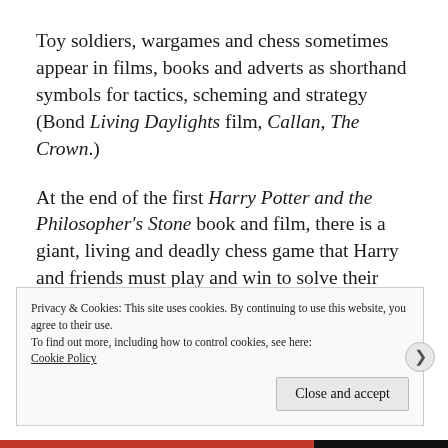Toy soldiers, wargames and chess sometimes appear in films, books and adverts as shorthand symbols for tactics, scheming and strategy (Bond Living Daylights film, Callan, The Crown.)
At the end of the first Harry Potter and the Philosopher's Stone book and film, there is a giant, living and deadly chess game that Harry and friends must play and win to solve their quest.
Privacy & Cookies: This site uses cookies. By continuing to use this website, you agree to their use.
To find out more, including how to control cookies, see here:
Cookie Policy